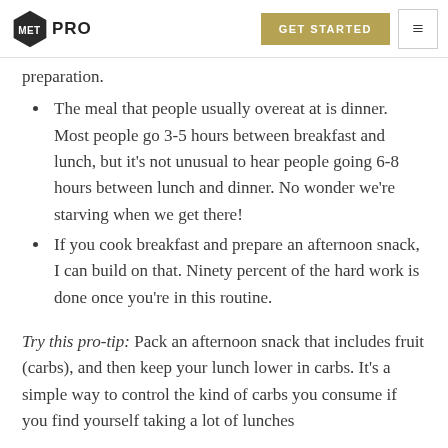METPRO | GET STARTED
preparation.
The meal that people usually overeat at is dinner. Most people go 3-5 hours between breakfast and lunch, but it's not unusual to hear people going 6-8 hours between lunch and dinner. No wonder we're starving when we get there!
If you cook breakfast and prepare an afternoon snack, I can build on that. Ninety percent of the hard work is done once you're in this routine.
Try this pro-tip: Pack an afternoon snack that includes fruit (carbs), and then keep your lunch lower in carbs. It's a simple way to control the kind of carbs you consume if you find yourself taking a lot of lunches